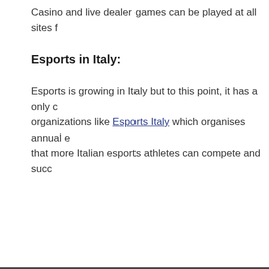Casino and live dealer games can be played at all sites f...
Esports in Italy:
Esports is growing in Italy but to this point, it has a only c... organizations like Esports Italy which organises annual e... that more Italian esports athletes can compete and succ...